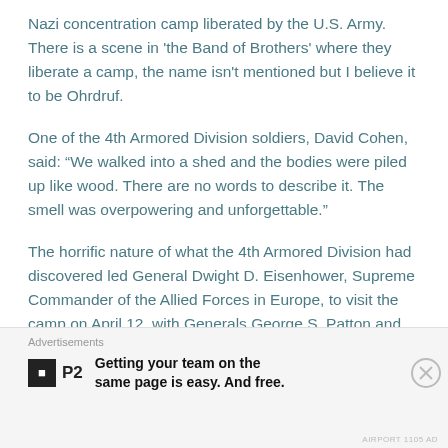Nazi concentration camp liberated by the U.S. Army. There is a scene in 'the Band of Brothers' where they liberate a camp, the name isn't mentioned but I believe it to be Ohrdruf.
One of the 4th Armored Division soldiers, David Cohen, said: “We walked into a shed and the bodies were piled up like wood. There are no words to describe it. The smell was overpowering and unforgettable.”
The horrific nature of what the 4th Armored Division had discovered led General Dwight D. Eisenhower, Supreme Commander of the Allied Forces in Europe, to visit the camp on April 12, with Generals George S. Patton and Omar Bradley. After his visit, Eisenhower cabled General
Advertisements
[Figure (infographic): P2 advertisement banner: logo with black box containing letter 'b' and 'P2' text, followed by bold text 'Getting your team on the same page is easy. And free.']